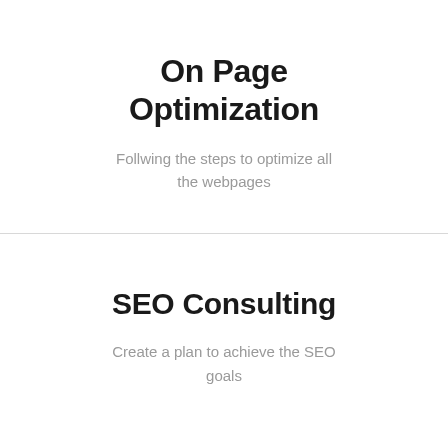On Page Optimization
Follwing the steps to optimize all the webpages
SEO Consulting
Create a plan to achieve the SEO goals